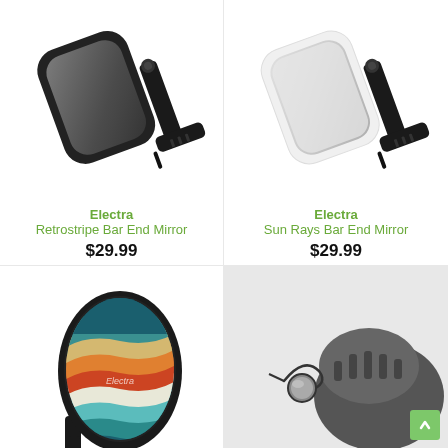[Figure (photo): Electra Retrostripe Bar End Mirror - black frame bicycle mirror with adjustable mount]
Electra
Retrostripe Bar End Mirror
$29.99
[Figure (photo): Electra Sun Rays Bar End Mirror - white frame bicycle mirror with adjustable mount]
Electra
Sun Rays Bar End Mirror
$29.99
[Figure (photo): Electra bar end mirror with colorful chevron/wave pattern design in teal, orange, red, and white]
[Figure (photo): Small round mirror attached to bicycle helmet via wire arm]